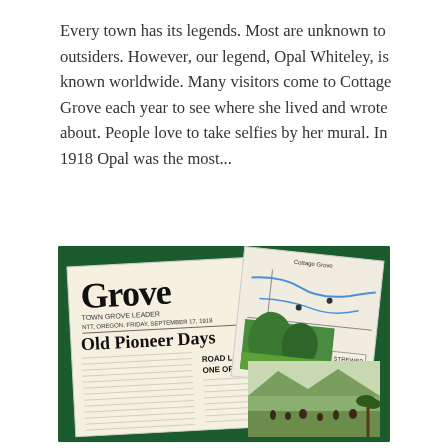Every town has its legends. Most are unknown to outsiders. However, our legend, Opal Whiteley, is known worldwide. Many visitors come to Cottage Grove each year to see where she lived and wrote about. People love to take selfies by her mural. In 1918 Opal was the most...
[Figure (photo): Collage image on dark green background showing an old newspaper with 'Grove S' (Cottage Grove Leader) masthead and 'Old Pioneer Days' headline, a vintage map of Cottage Grove area with blue river lines, a scenic green valley photo, and a historical painting of pioneers/wagons in a landscape.]